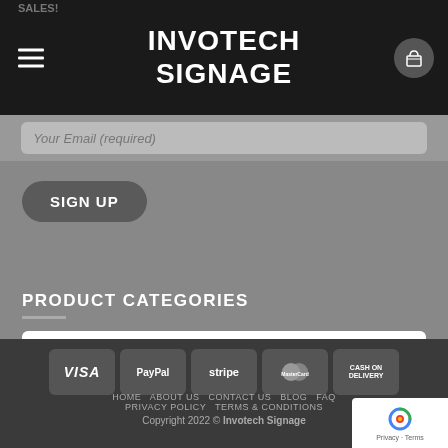INVOTECH SIGNAGE
Your Email (required)
SIGN UP
PRODUCT CATEGORIES
Select a category
[Figure (other): Payment method badges: VISA, PayPal, stripe, MasterCard, CASH ON DELIVERY]
HOME   ABOUT US   CONTACT US   BLOG   FAQ   PRIVACY POLICY   TERMS & CONDITIONS
Copyright 2022 © Invotech Signage